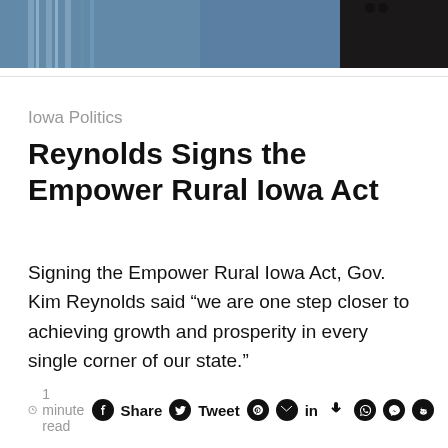[Figure (photo): Partial photo of a person wearing a blue denim/fleece jacket, with a dark background on the right side]
Iowa Politics
Reynolds Signs the Empower Rural Iowa Act
Signing the Empower Rural Iowa Act, Gov. Kim Reynolds said “we are one step closer to achieving growth and prosperity in every single corner of our state.”
1 minute read  Share  Tweet